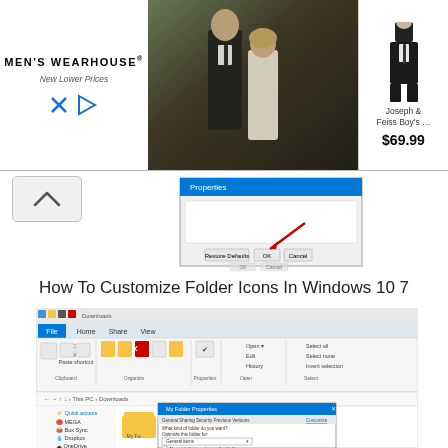[Figure (screenshot): Men's Wearhouse advertisement banner with wedding couple photo and Joseph & Feiss Boy's suit for $69.99]
[Figure (screenshot): Windows dialog box screenshot with Restore Defaults, OK, and Cancel buttons and a red arrow pointing to OK]
How To Customize Folder Icons In Windows 10 7
[Figure (screenshot): Windows 10 File Explorer showing Downloads folder with My Folder Properties dialog open on the Customize tab, showing folder icon options including General Items template and Choose File button for folder picture]